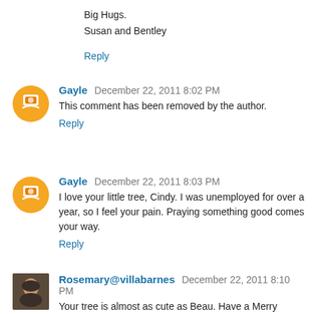Big Hugs.
Susan and Bentley
Reply
Gayle  December 22, 2011 8:02 PM
This comment has been removed by the author.
Reply
Gayle  December 22, 2011 8:03 PM
I love your little tree, Cindy. I was unemployed for over a year, so I feel your pain. Praying something good comes your way.
Reply
Rosemary@villabarnes  December 22, 2011 8:10 PM
Your tree is almost as cute as Beau. Have a Merry